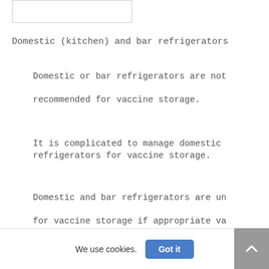[Figure (other): Partial image/screenshot placeholder at top of page]
Domestic (kitchen) and bar refrigerators
Domestic or bar refrigerators are not recommended for vaccine storage.
It is complicated to manage domestic refrigerators for vaccine storage.
Domestic and bar refrigerators are un for vaccine storage if appropriate va storage and handling practices are no